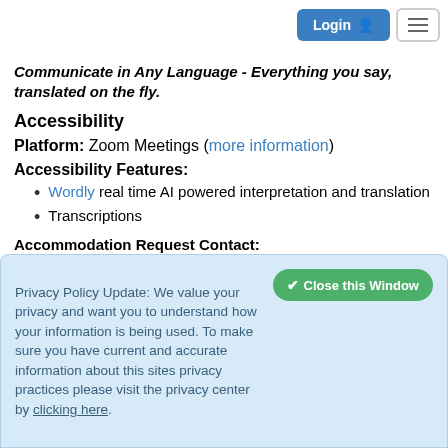Login  ☰
Communicate in Any Language - Everything you say, translated on the fly.
Accessibility
Platform: Zoom Meetings (more information)
Accessibility Features:
Wordly real time AI powered interpretation and translation
Transcriptions
Accommodation Request Contact: MPIAcademy@mpiweb.org
Premier: Free
Preferred: Free
Privacy Policy Update: We value your privacy and want you to understand how your information is being used. To make sure you have current and accurate information about this sites privacy practices please visit the privacy center by clicking here.